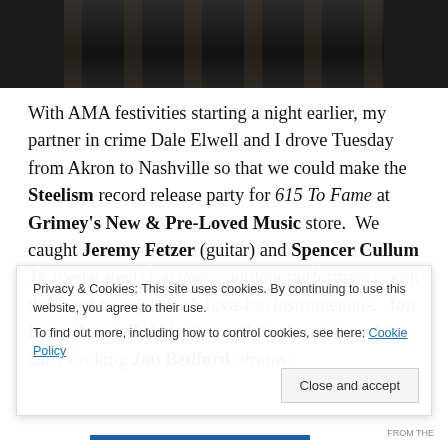[Figure (photo): A dark photograph showing musicians or people with instruments, partially visible at top of page]
With AMA festivities starting a night earlier, my partner in crime Dale Elwell and I drove Tuesday from Akron to Nashville so that we could make the Steelism record release party for 615 To Fame at Grimey's New & Pre-Loved Music store.  We caught Jeremy Fetzer (guitar) and Spencer Cullum Jr. (pedal steel) last year's outdoor performance with their surf twang British Invasion instrumentals.  Jon Estes (bass), Robbie Crowell (keyboards), and the hard working Jon Bedford (drums)
Privacy & Cookies: This site uses cookies. By continuing to use this website, you agree to their use.
To find out more, including how to control cookies, see here: Cookie Policy
Close and accept